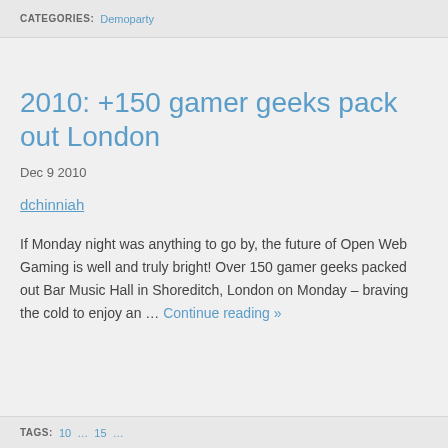CATEGORIES: Demoparty
2010: +150 gamer geeks pack out London
Dec 9 2010
dchinniah
If Monday night was anything to go by, the future of Open Web Gaming is well and truly bright! Over 150 gamer geeks packed out Bar Music Hall in Shoreditch, London on Monday – braving the cold to enjoy an … Continue reading »
TAGS: 10... 15...